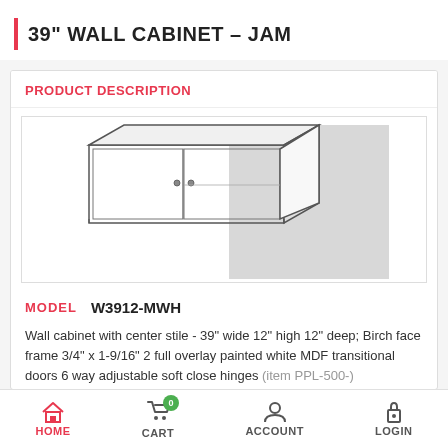39" WALL CABINET – JAM
PRODUCT DESCRIPTION
[Figure (illustration): Line drawing illustration of a wall cabinet with center stile, showing 3D perspective view with open door and empty interior, accompanied by a gray rectangular swatch panel on the right side.]
MODEL   W3912-MWH
Wall cabinet with center stile - 39" wide 12" high 12" deep; Birch face frame 3/4" x 1-9/16" 2 full overlay painted white MDF transitional doors 6 way adjustable soft close hinges (item PPL-500-)
HOME   CART   ACCOUNT   LOGIN